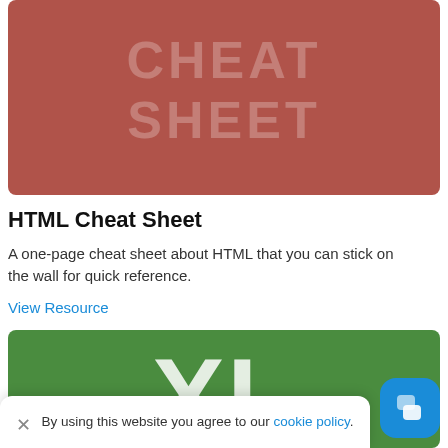[Figure (illustration): Reddish-brown book cover with large light text reading 'CHEAT SHEET']
HTML Cheat Sheet
A one-page cheat sheet about HTML that you can stick on the wall for quick reference.
View Resource
[Figure (illustration): Green book cover with large white letters 'XL' partially visible]
By using this website you agree to our cookie policy.